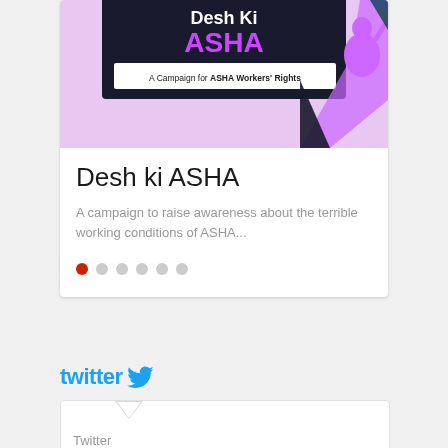[Figure (illustration): Campaign card with purple/lavender background showing 'Desh Ki ASHA' banner in dark background with purple text and stylized figure illustration, tagline 'A Campaign for ASHA Workers' Rights']
Desh ki ASHA
A campaign to raise awareness about the terrible working conditions of ASHA...
[Figure (logo): Twitter logo with bird icon in blue]
Twitter